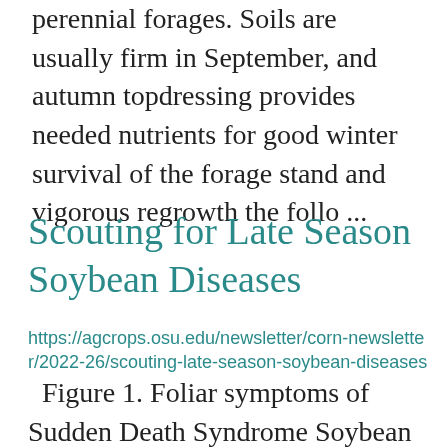perennial forages. Soils are usually firm in September, and autumn topdressing provides needed nutrients for good winter survival of the forage stand and vigorous regrowth the follo ...
Scouting for Late Season Soybean Diseases
https://agcrops.osu.edu/newsletter/corn-newsletter/2022-26/scouting-late-season-soybean-diseases
Figure 1. Foliar symptoms of Sudden Death Syndrome Soybean disease levels across the state have been low to moderate so far, but growers should